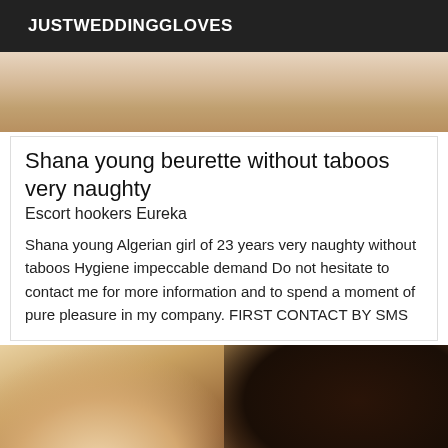JUSTWEDDINGGLOVES
[Figure (photo): Partial photo visible at top, skin tones suggesting a person]
Shana young beurette without taboos very naughty
Escort hookers Eureka
Shana young Algerian girl of 23 years very naughty without taboos Hygiene impeccable demand Do not hesitate to contact me for more information and to spend a moment of pure pleasure in my company. FIRST CONTACT BY SMS
[Figure (photo): Photo of two women on a bed, one blonde in foreground]